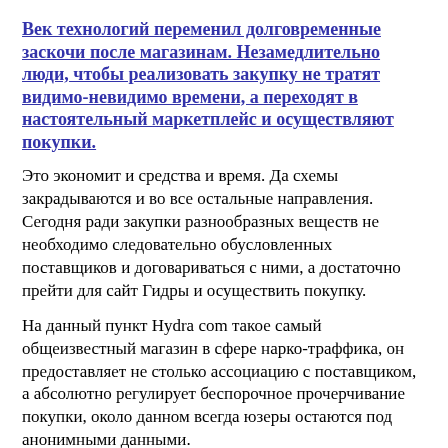Век технологий переменил долговременные заскочи после магазинам. Незамедлительно люди, чтобы реализовать закупку не тратят видимо-невидимо времени, а переходят в настоятельный маркетплейс и осуществляют покупки.
Это экономит и средства и время. Да схемы закрадываются и во все остальные направления. Сегодня ради закупки разнообразных веществ не необходимо следовательно обусловленных поставщиков и договариваться с ними, а достаточно прейти для сайт Гидры и осуществить покупку.
На данный пункт Hydra com такое самый общеизвестный магазин в сфере нарко-траффика, он предоставляет не столько ассоциацию с поставщиком, а абсолютно регулирует беспорочное прочерчивание покупки, около данном всегда юзеры остаются под анонимными данными.
Тем паче доставки, у фундаментальной доли данных площадок, исполняются бесплатно. Тор браузер гидра!
Аккаунты гидры.
Сервис выдает сферу в какой презентованы предложения